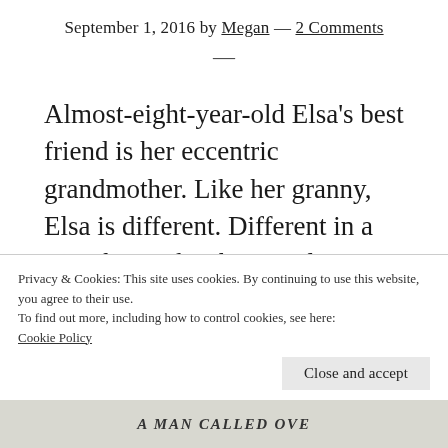September 1, 2016 by Megan — 2 Comments
—
Almost-eight-year-old Elsa's best friend is her eccentric grandmother. Like her granny, Elsa is different. Different in a way that makes her good at running, because  “that's what happens when you get chased all the time.” Different in a way that allows to her to relate
Privacy & Cookies: This site uses cookies. By continuing to use this website, you agree to their use.
To find out more, including how to control cookies, see here:
Cookie Policy
Close and accept
A MAN CALLED OVE